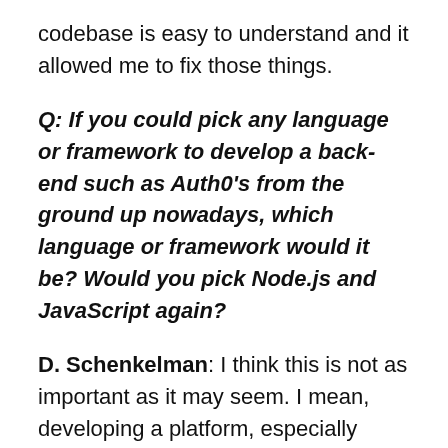codebase is easy to understand and it allowed me to fix those things.
Q: If you could pick any language or framework to develop a back-end such as Auth0's from the ground up nowadays, which language or framework would it be? Would you pick Node.js and JavaScript again?
D. Schenkelman: I think this is not as important as it may seem. I mean, developing a platform, especially when it comes to startups, is so much more than just coding. Code is just the means to achieve your product. As long as the set of tools